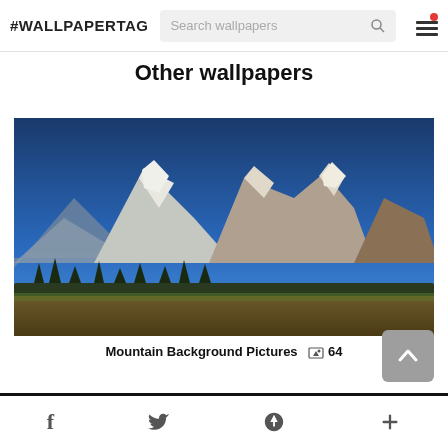#WALLPAPERTAG | Search wallpapers [search icon] [menu icon]
Other wallpapers
[Figure (photo): Panoramic mountain landscape photo showing snow-capped rocky peaks under a deep blue sky, with evergreen trees and golden meadow in the foreground]
Mountain Background Pictures  64
f  [twitter]  p  +